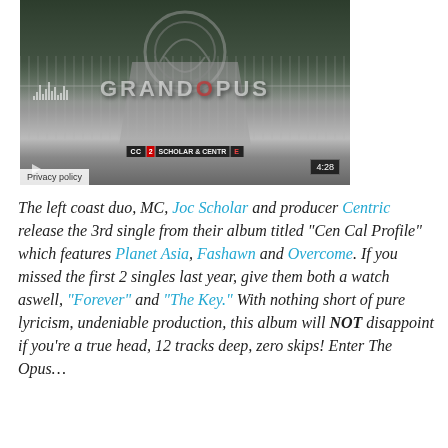[Figure (screenshot): Video player screenshot showing a grayscale scene of a gated driveway with trees, overlaid with 'Grand Opus' text and circular logo, audio waveform bars, subtitle bar, timestamp '4:28', and privacy policy label.]
The left coast duo, MC, Joc Scholar and producer Centric release the 3rd single from their album titled "Cen Cal Profile" which features Planet Asia, Fashawn and Overcome. If you missed the first 2 singles last year, give them both a watch aswell, "Forever" and "The Key." With nothing short of pure lyricism, undeniable production, this album will NOT disappoint if you're a true head, 12 tracks deep, zero skips! Enter The Opus…